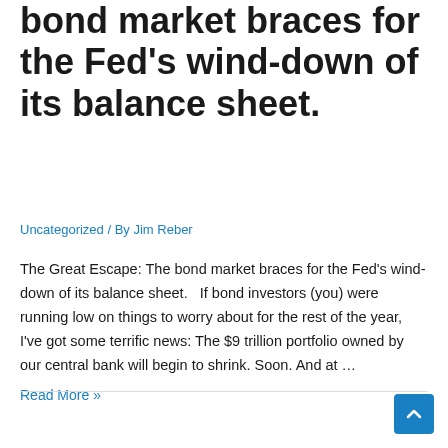bond market braces for the Fed's wind-down of its balance sheet.
Uncategorized / By Jim Reber
The Great Escape: The bond market braces for the Fed's wind-down of its balance sheet.   If bond investors (you) were running low on things to worry about for the rest of the year, I've got some terrific news: The $9 trillion portfolio owned by our central bank will begin to shrink. Soon. And at …
Read More »